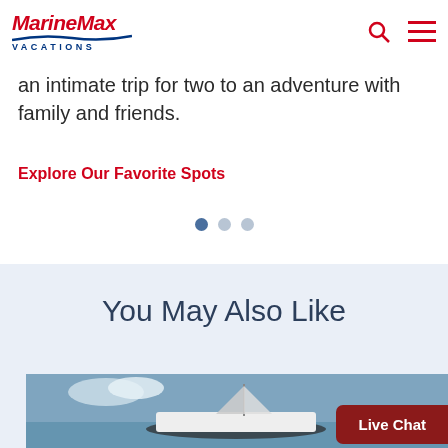MarineMax Vacations
an intimate trip for two to an adventure with family and friends.
Explore Our Favorite Spots
You May Also Like
[Figure (photo): Boat on water with sky background]
Live Chat